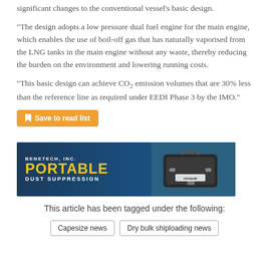significant changes to the conventional vessel’s basic design.
“The design adopts a low pressure dual fuel engine for the main engine, which enables the use of boil-off gas that has naturally vaporised from the LNG tanks in the main engine without any waste, thereby reducing the burden on the environment and lowering running costs.
“This basic design can achieve CO2 emission volumes that are 30% less than the reference line as required under EEDI Phase 3 by the IMO.”
[Figure (other): Orange button with bookmark icon reading 'Save to read list']
[Figure (other): Advertisement banner for Benetech, Inc. Portable Dust Suppression with an equipment case image on the right.]
This article has been tagged under the following:
Capesize news
Dry bulk shiploading news